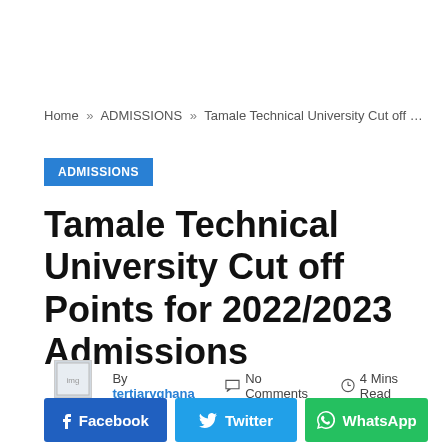Home » ADMISSIONS » Tamale Technical University Cut off Poi...
ADMISSIONS
Tamale Technical University Cut off Points for 2022/2023 Admissions
By tertiaryghana   No Comments   4 Mins Read
Facebook   Twitter   WhatsApp